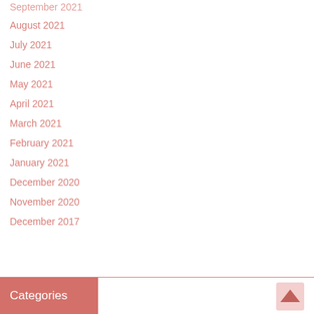September 2021
August 2021
July 2021
June 2021
May 2021
April 2021
March 2021
February 2021
January 2021
December 2020
November 2020
December 2017
Categories